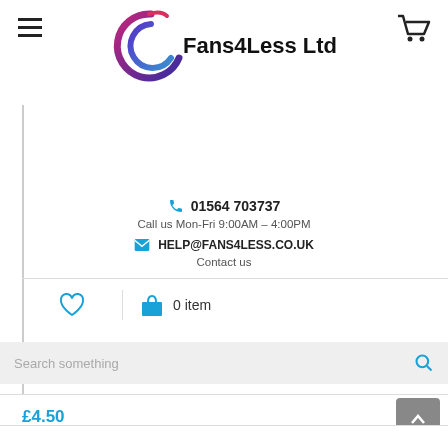[Figure (logo): Fans4Less Ltd logo with swirl graphic in purple/red/blue and bold text]
01564 703737
Call us Mon-Fri 9:00AM - 4:00PM
HELP@FANS4LESS.CO.UK
Contact us
0 item
Search something
£4.50